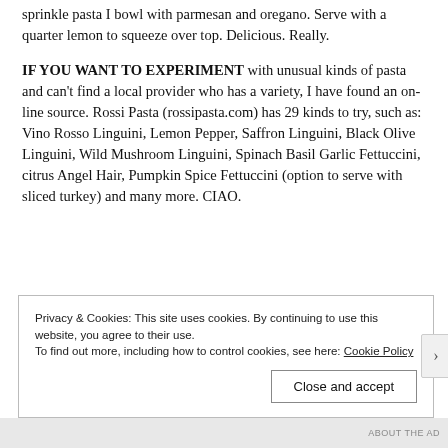sprinkle pasta I bowl with parmesan and oregano. Serve with a quarter lemon to squeeze over top. Delicious. Really.
IF YOU WANT TO EXPERIMENT with unusual kinds of pasta and can't find a local provider who has a variety, I have found an on-line source. Rossi Pasta (rossipasta.com) has 29 kinds to try, such as: Vino Rosso Linguini, Lemon Pepper, Saffron Linguini, Black Olive Linguini, Wild Mushroom Linguini, Spinach Basil Garlic Fettuccini, citrus Angel Hair, Pumpkin Spice Fettuccini (option to serve with sliced turkey) and many more. CIAO.
Privacy & Cookies: This site uses cookies. By continuing to use this website, you agree to their use. To find out more, including how to control cookies, see here: Cookie Policy